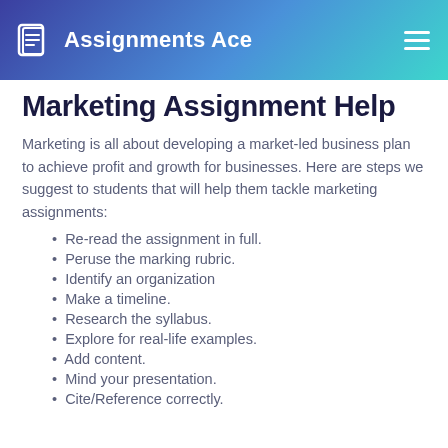Assignments Ace
Marketing Assignment Help
Marketing is all about developing a market-led business plan to achieve profit and growth for businesses. Here are steps we suggest to students that will help them tackle marketing assignments:
Re-read the assignment in full.
Peruse the marking rubric.
Identify an organization
Make a timeline.
Research the syllabus.
Explore for real-life examples.
Add content.
Mind your presentation.
Cite/Reference correctly.